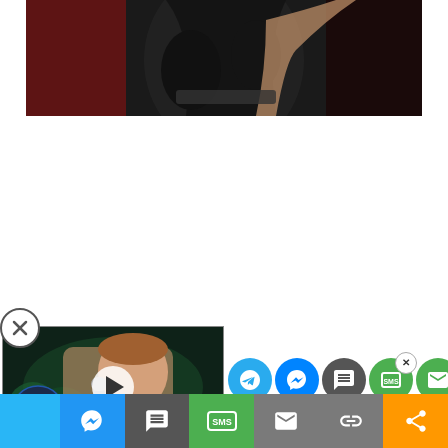[Figure (photo): Close-up photo of a person in a black leather jacket, partial view, with red/dark background]
[Figure (screenshot): Video thumbnail showing a muscular man (John Cena style) holding a WWE microphone, green ring lighting, with WatchMojo logo bottom-left, play button overlay, and social share icons on the right side including Telegram, Messenger, SMS, and email buttons. A second share bar is at the bottom with Messenger, SMS, email, link, and share icons in blue, dark, green, gray, and orange.]